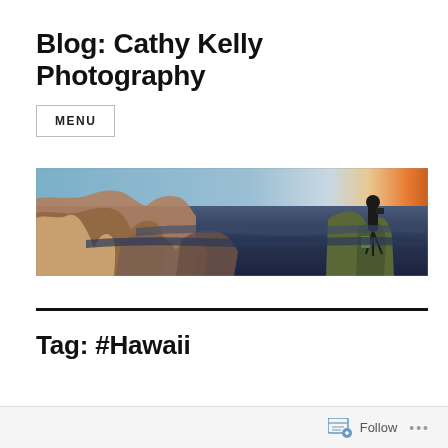Blog: Cathy Kelly Photography
MENU
[Figure (photo): Panoramic photo of the Grand Canyon at sunset/twilight with a photographer silhouette on the right side using a tripod, canyon layers visible in deep purple-blue hues, orange glow on the horizon.]
Tag: #Hawaii
Follow ...